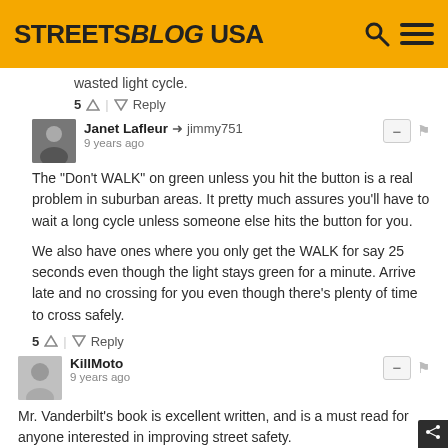STREETSBLOG USA
wasted light cycle.
5 | Reply
Janet Lafleur → jimmy751
9 years ago
The "Don't WALK" on green unless you hit the button is a real problem in suburban areas. It pretty much assures you'll have to wait a long cycle unless someone else hits the button for you.

We also have ones where you only get the WALK for say 25 seconds even though the light stays green for a minute. Arrive late and no crossing for you even though there's plenty of time to cross safely.
5 | Reply
KillMoto
9 years ago
Mr. Vanderbilt's book is excellent written, and is a must read for anyone interested in improving street safety.